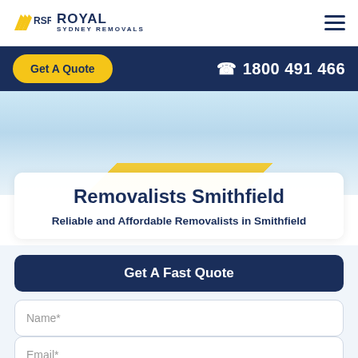[Figure (logo): Royal Sydney Removals logo with yellow stylized RSR mark and dark navy text]
Get A Quote
1800 491 466
Removalists Smithfield
Reliable and Affordable Removalists in Smithfield
Get A Fast Quote
Name*
Email*
Phone*